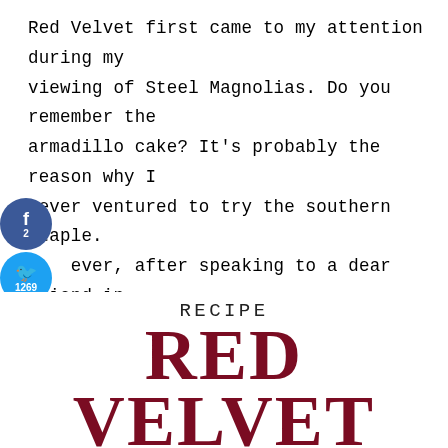Red Velvet first came to my attention during my viewing of Steel Magnolias. Do you remember the armadillo cake? It's probably the reason why I never ventured to try the southern staple. However, after speaking to a dear friend in Birmingham, I figured I had to try my hand at it, and BOOM. I was hooked. If I'm being honest though, it's really about the cream cheese frosting. The cupcake is a perfect conduit for it.
[Figure (infographic): Social sharing sidebar with Facebook (2 shares), Twitter (1269 shares), Pinterest (11 shares), total 1282 shares]
RECIPE RED VELVET